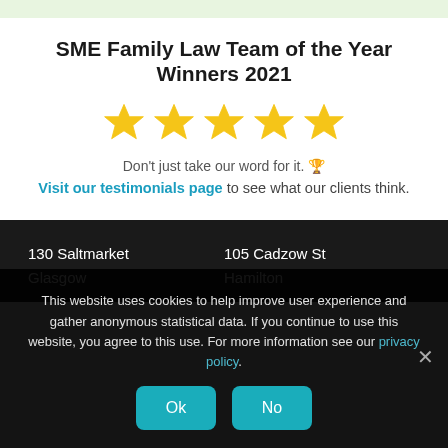SME Family Law Team of the Year Winners 2021
[Figure (illustration): Five gold/yellow star rating icons in a row]
Don't just take our word for it. 🏆
Visit our testimonials page to see what our clients think.
130 Saltmarket
Glasgow
105 Cadzow St
Hamilton
This website uses cookies to help improve user experience and gather anonymous statistical data. If you continue to use this website, you agree to this use. For more information see our privacy policy.